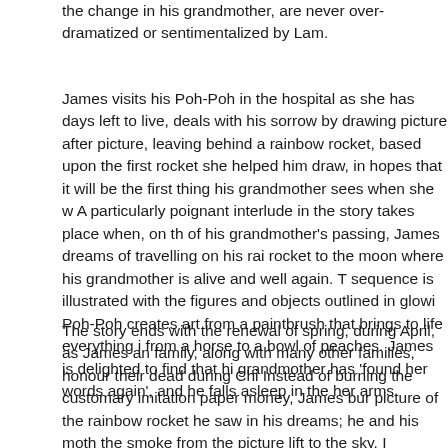the change in his grandmother, are never over-dramatized or sentimentalized by Lam.
James visits his Poh-Poh in the hospital as she has days left to live, deals with his sorrow by drawing picture after picture, leaving behind a rainbow rocket, based upon the first rocket she helped him draw, in hopes that it will be the first thing his grandmother sees when she wakes. A particularly poignant interlude in the story takes place when, on the night of his grandmother's passing, James dreams of travelling on his rainbow rocket to the moon where his grandmother is alive and well again. This sequence is illustrated with the figures and objects outlined in glowing. Poh-Poh creates art from a paintbrush that brings to life everything it touches, from a horse to a bowl of peaches. James is delighted to find that his grandmother has 'found her words again', and he falls asleep in the warmth of her arms.
The story ends with the renewal of spring, during April, as James and his family, along with many other families, honour their dead during Chinese. Instead of burning the customary imitation paper money, James burns a picture of the rainbow rocket he saw in his dreams; he and his mother watch the smoke from the picture lift to the sky. I appreciate how James is